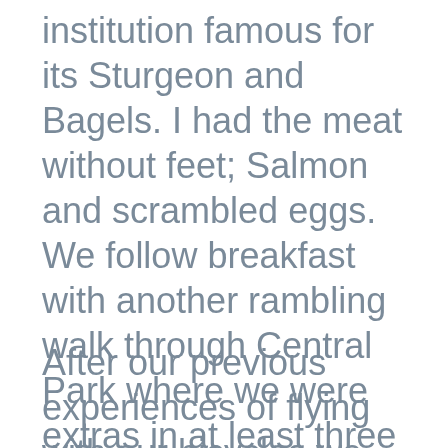institution famous for its Sturgeon and Bagels. I had the meat without feet; Salmon and scrambled eggs. We follow breakfast with another rambling walk through Central Park where we were extras in at least three weddings.
After our previous experiences of flying with our bicycles we